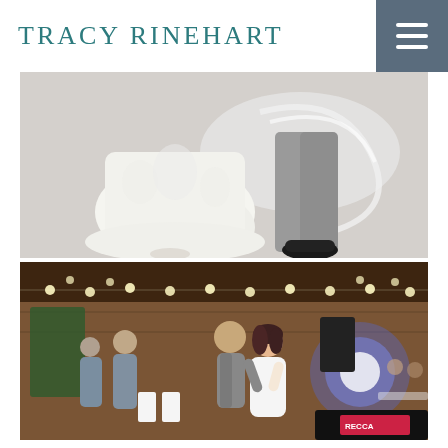TRACY RINEHART
[Figure (photo): Wedding first dance photo showing lower half of bride in white lace dress and groom in grey suit on a dance floor with a light projection pattern]
[Figure (photo): Wedding reception in a barn venue with string lights, couple dancing in center, DJ equipment visible on right, guests watching on left]